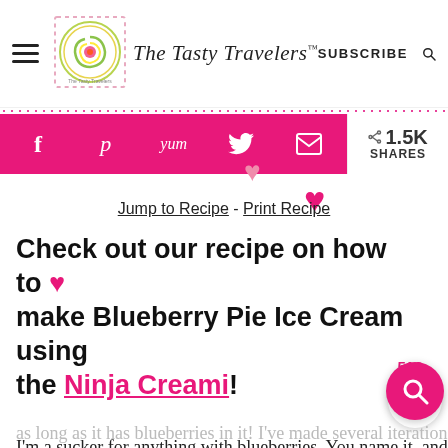The Tasty Travelers — SUBSCRIBE
[Figure (screenshot): Social share bar with Facebook, Pinterest, Yummly, Twitter, Email icons in pink. Share count: 1.5K SHARES]
Jump to Recipe - Print Recipe
Check out our recipe on how to make Blueberry Pie Ice Cream using the Ninja Creami!
I'm a sucker for anything with blueberries. You name it, and I'll eat it or drink it just as long as it has blueberries in it! I've made several iterations of blueberry ice